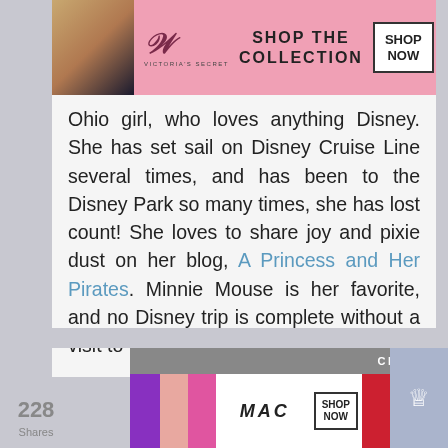[Figure (screenshot): Victoria's Secret advertisement banner with pink background, model photo on left, VS logo, 'SHOP THE COLLECTION' text, and 'SHOP NOW' button]
Ohio girl, who loves anything Disney. She has set sail on Disney Cruise Line several times, and has been to the Disney Park so many times, she has lost count! She loves to share joy and pixie dust on her blog, A Princess and Her Pirates. Minnie Mouse is her favorite, and no Disney trip is complete without a visit to 'Ohana!
[Figure (screenshot): MAC cosmetics advertisement banner with lipsticks, MAC logo, and SHOP NOW button]
228 Shares